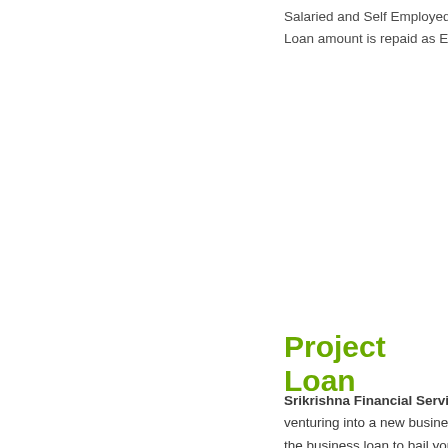Salaried and Self Employed Pr...
Loan amount is repaid as Equa...
Project Loan
Srikrishna Financial Service... venturing into a new business... the business loan to bail you o...